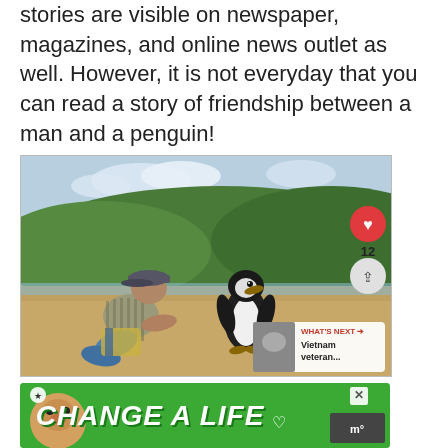stories are visible on newspaper, magazines, and online news outlet as well. However, it is not everyday that you can read a story of friendship between a man and a penguin!
[Figure (photo): A man in a striped shirt and cap crouching on a sandy beach, touching noses/bills with a penguin. Green forested hills in the background. Social media UI overlaid on right side: red heart like button, count '12', share button. 'What's Next' panel showing 'Vietnam veteran...' A green advertisement banner at bottom reads 'CHANGE A LIFE' with a dog image.]